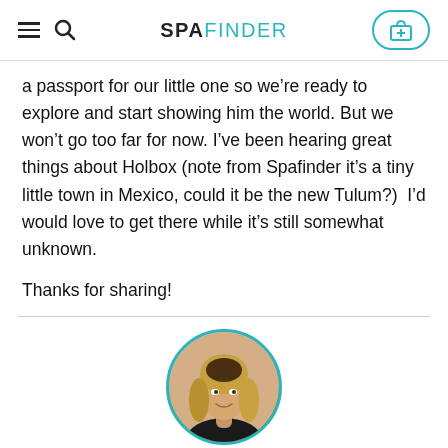SPAFINDER
a passport for our little one so we’re ready to explore and start showing him the world. But we won’t go too far for now. I’ve been hearing great things about Holbox (note from Spafinder it’s a tiny little town in Mexico, could it be the new Tulum?)  I’d would love to get there while it’s still somewhat unknown.
Thanks for sharing!
[Figure (photo): Circular portrait photo of author Elaine D'Farley with teal border]
About the author: Elaine D'Farley